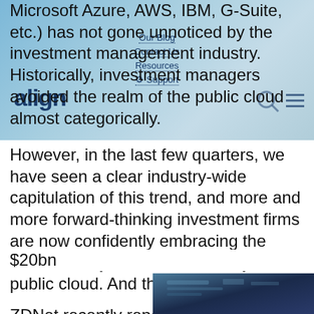Microsoft Azure, AWS, IBM, G-Suite, etc.) has not gone unnoticed by the investment management industry. Historically, investment managers avoided the realm of the public cloud almost categorically. However, in the last few quarters, we have seen a clear industry-wide capitulation of this trend, and more and more forward-thinking investment firms are now confidently embracing the extraordinary benefits offered by the public cloud. And they are winning.
ZDNet recently reported that spending on cloud computing infrastructure in Q2 2018 reached $20bn
[Figure (photo): Thumbnail photo at bottom right of page, dark blue toned image]